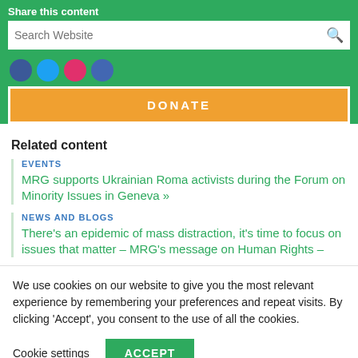Share this content
Search Website
DONATE
Related content
EVENTS
MRG supports Ukrainian Roma activists during the Forum on Minority Issues in Geneva »
NEWS AND BLOGS
There's an epidemic of mass distraction, it's time to focus on issues that matter – MRG's message on Human Rights –
We use cookies on our website to give you the most relevant experience by remembering your preferences and repeat visits. By clicking 'Accept', you consent to the use of all the cookies.
Cookie settings
ACCEPT